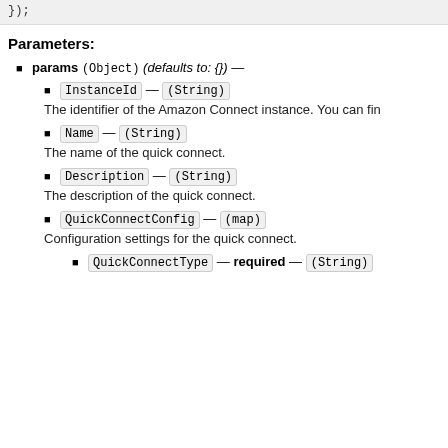});
Parameters:
params (Object) (defaults to: {}) —
InstanceId — (String)
The identifier of the Amazon Connect instance. You can fin
Name — (String)
The name of the quick connect.
Description — (String)
The description of the quick connect.
QuickConnectConfig — (map)
Configuration settings for the quick connect.
QuickConnectType — required — (String)